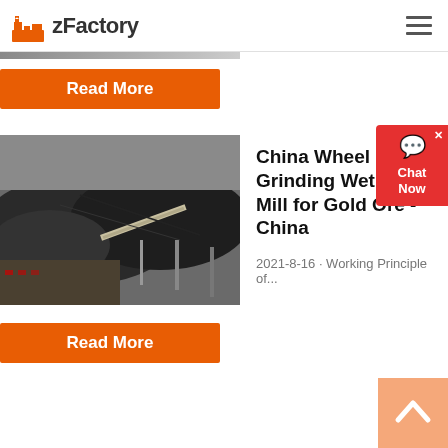zFactory
Read More
China Wheel Grinding Wet Pan Mill for Gold Ore - China
2021-8-16 · Working Principle of...
Read More
[Figure (screenshot): Chat Now widget button in red]
[Figure (photo): Industrial mining site with large piles of coal/ore and conveyor belt structure]
[Figure (illustration): Scroll-to-top arrow button in light orange]